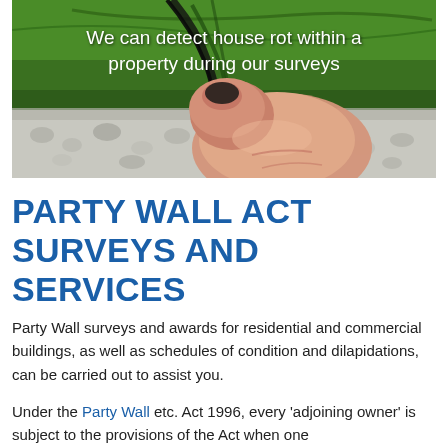[Figure (photo): Close-up photo of a finger pressing into green painted wood or metal surface, indicating detection of rot. White text overlay reads: We can detect house rot within a property during our surveys.]
PARTY WALL ACT SURVEYS AND SERVICES
Party Wall surveys and awards for residential and commercial buildings, as well as schedules of condition and dilapidations, can be carried out to assist you.
Under the Party Wall etc. Act 1996, every 'adjoining owner' is subject to the provisions of the Act when one